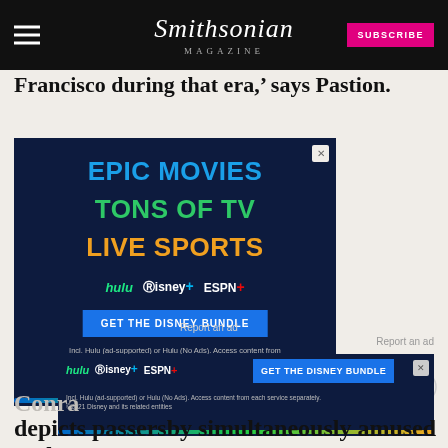Smithsonian Magazine | SUBSCRIBE
Francisco during that era,’ says Pastion.
[Figure (infographic): Hulu Disney+ ESPN+ ad: EPIC MOVIES, TONS OF TV, LIVE SPORTS. GET THE DISNEY BUNDLE.]
Report an ad
[Figure (infographic): Secondary Hulu Disney+ ESPN+ GET THE DISNEY BUNDLE banner ad]
Conra
depicts passersby simultaneously amused and